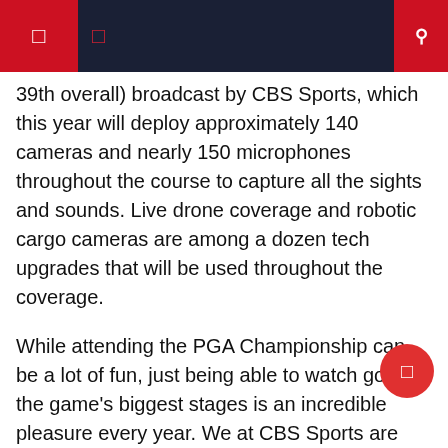Navigation header with CBS Sports branding
39th overall) broadcast by CBS Sports, which this year will deploy approximately 140 cameras and nearly 150 microphones throughout the course to capture all the sights and sounds. Live drone coverage and robotic cargo cameras are among a dozen tech upgrades that will be used throughout the coverage.
While attending the PGA Championship can be a lot of fun, just being able to watch golf on the game's biggest stages is an incredible pleasure every year. We at CBS Sports are excited to bring you comprehensive coverage of the PGA Championship all week long with live action streaming all weekend.
Enough talk. Here's how you can watch as many PGA Championships as possible over the weekend. Be sure to stick with CBS Sports for live coverage throughout, see Tour